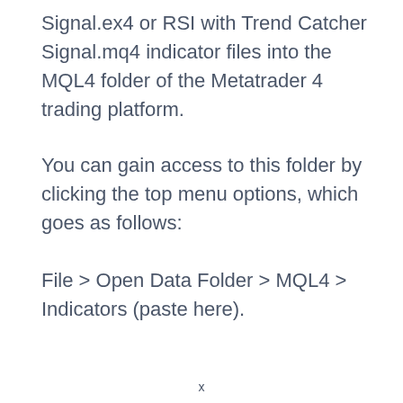Signal.ex4 or RSI with Trend Catcher Signal.mq4 indicator files into the MQL4 folder of the Metatrader 4 trading platform.
You can gain access to this folder by clicking the top menu options, which goes as follows:
File > Open Data Folder > MQL4 > Indicators (paste here).
x